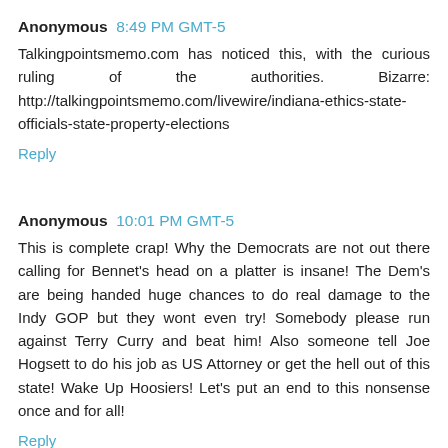Anonymous 8:49 PM GMT-5
Talkingpointsmemo.com has noticed this, with the curious ruling of the authorities. Bizarre: http://talkingpointsmemo.com/livewire/indiana-ethics-state-officials-state-property-elections
Reply
Anonymous 10:01 PM GMT-5
This is complete crap! Why the Democrats are not out there calling for Bennet's head on a platter is insane! The Dem's are being handed huge chances to do real damage to the Indy GOP but they wont even try! Somebody please run against Terry Curry and beat him! Also someone tell Joe Hogsett to do his job as US Attorney or get the hell out of this state! Wake Up Hoosiers! Let's put an end to this nonsense once and for all!
Reply